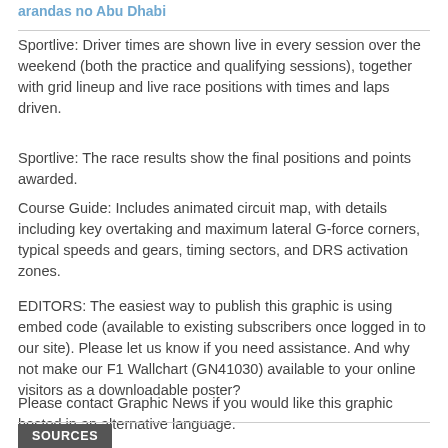arandas no Abu Dhabi
Sportlive: Driver times are shown live in every session over the weekend (both the practice and qualifying sessions), together with grid lineup and live race positions with times and laps driven.
Sportlive: The race results show the final positions and points awarded.
Course Guide: Includes animated circuit map, with details including key overtaking and maximum lateral G-force corners, typical speeds and gears, timing sectors, and DRS activation zones.
EDITORS: The easiest way to publish this graphic is using embed code (available to existing subscribers once logged in to our site). Please let us know if you need assistance. And why not make our F1 Wallchart (GN41030) available to your online visitors as a downloadable poster?
Please contact Graphic News if you would like this graphic hosted in an alternative language.
SOURCES